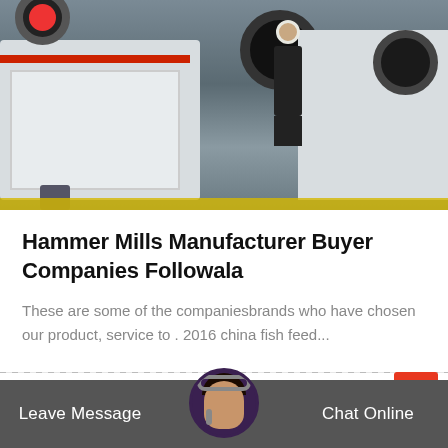[Figure (photo): Industrial hammer mill machinery in a manufacturing facility, with large flywheels and a worker in hard hat inspecting the equipment]
Hammer Mills Manufacturer Buyer Companies Followala
These are some of the companiesbrands who have chosen our product, service to . 2016 china fish feed...
Release Time : Mar
Leave Message   Chat Online